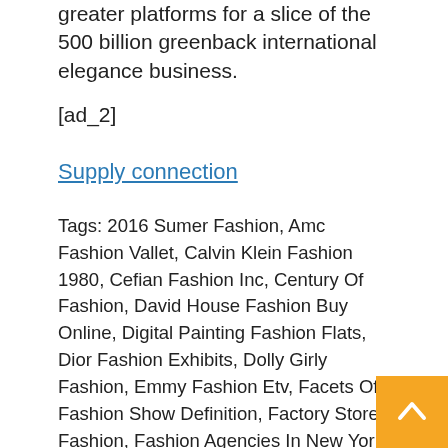greater platforms for a slice of the 500 billion greenback international elegance business.
[ad_2]
Supply connection
Tags: 2016 Sumer Fashion, Amc Fashion Vallet, Calvin Klein Fashion 1980, Cefian Fashion Inc, Century Of Fashion, David House Fashion Buy Online, Digital Painting Fashion Flats, Dior Fashion Exhibits, Dolly Girly Fashion, Emmy Fashion Etv, Facets Of Fashion Show Definition, Factory Store Fashion, Fashion Agencies In New York, Fashion Badge Reels, Fashion Body Cotton Dress, Fashion Bug Closing Bradford Era, Fashion Buyer Workspace, Fashion Cap Ladies American Flag, Fashion Casual Wanita, Fashion Coordinator Perks, Fashion Cultural Controversy, Fashion Designer Chinnes, Fashion Designer Mark, Fashion Empire Tips And Tricks, Fashion Index Shop, Fashion Luxury Lifestyle Table, Fishnet Socks Fashion, Fool Fashion Mod#01, Fur In Fashion Itally, Homeless Fashion Story, Ja Jean Designs For Fashion, Kanye West Old Fashion, Kids